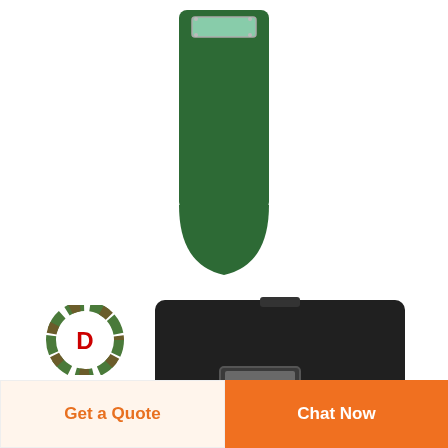[Figure (photo): Green anti-riot ballistic shield, tall body-length shield with a transparent rectangular viewport near the top, shown from the front]
[Figure (photo): Black ballistic body shield, rectangular shape with a transparent viewport window near the bottom center, shown at an angle]
[Figure (logo): DEEKON company logo: circular camouflage pattern ring with red letter D in center, company name DEEKON in red bold text below]
Get a Quote
Chat Now